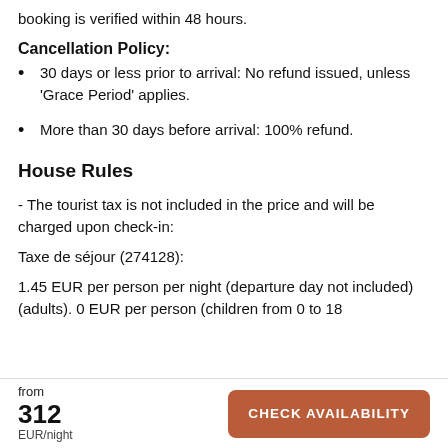booking is verified within 48 hours.
Cancellation Policy:
30 days or less prior to arrival: No refund issued, unless 'Grace Period' applies.
More than 30 days before arrival: 100% refund.
House Rules
- The tourist tax is not included in the price and will be charged upon check-in:
Taxe de séjour (274128):
1.45 EUR per person per night (departure day not included) (adults). 0 EUR per person (children from 0 to 18
from 312 EUR/night
CHECK AVAILABILITY